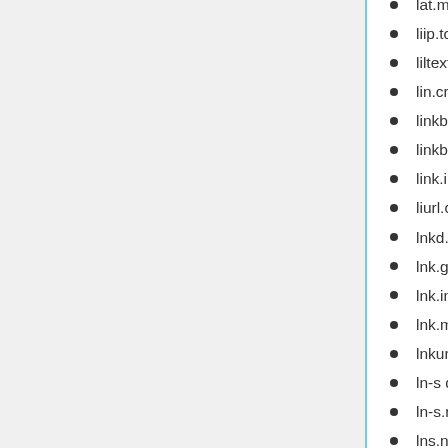lat.ms
liip.to
liltext.com
lin.cr
linkbee.com
linkbun.ch
link.in
liurl.cn
lnkd.in
lnk.gd
lnk.in
lnk.ms
lnkurl.com
ln-s dot ru
ln-s.net
lns.net
lru.jp
lt.tl
lurl.no